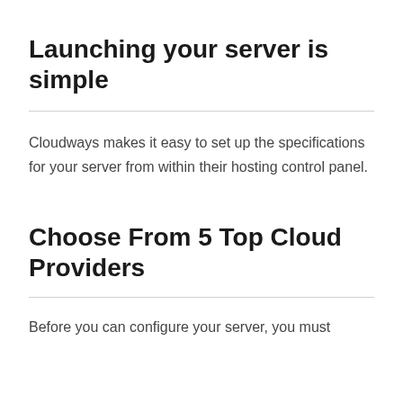Launching your server is simple
Cloudways makes it easy to set up the specifications for your server from within their hosting control panel.
Choose From 5 Top Cloud Providers
Before you can configure your server, you must